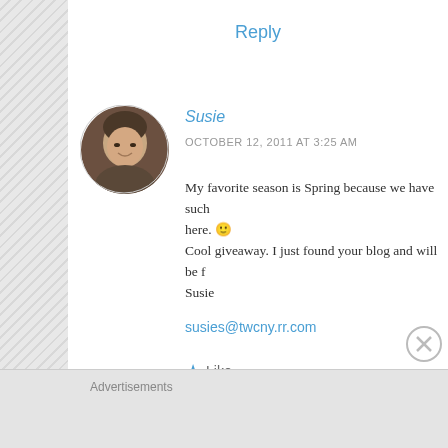Reply
[Figure (photo): Circular avatar photo of a woman with short gray-brown hair, smiling slightly]
Susie
OCTOBER 12, 2011 AT 3:25 AM
My favorite season is Spring because we have such here. 🙂
Cool giveaway. I just found your blog and will be f
Susie
susies@twcny.rr.com
★ Like
Reply
Advertisements